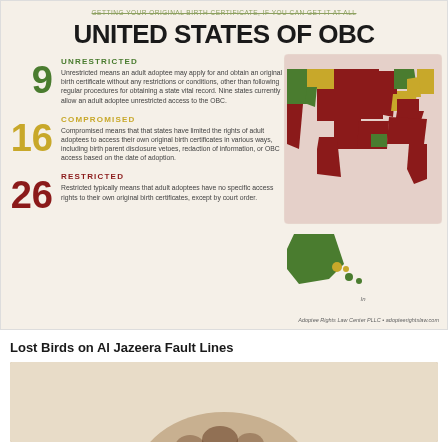GETTING YOUR ORIGINAL BIRTH CERTIFICATE, IF YOU CAN GET IT AT ALL
UNITED STATES OF OBC
UNRESTRICTED
Unrestricted means an adult adoptee may apply for and obtain an original birth certificate without any restrictions or conditions, other than following regular procedures for obtaining a state vital record. Nine states currently allow an adult adoptee unrestricted access to the OBC.
COMPROMISED
Compromised means that that states have limited the rights of adult adoptees to access their own original birth certificates in various ways, including birth parent disclosure vetoes, redaction of information, or OBC access based on the date of adoption.
RESTRICTED
Restricted typically means that adult adoptees have no specific access rights to their own original birth certificates, except by court order.
[Figure (map): Choropleth map of the United States color-coded by OBC access status: green for unrestricted states, gold/yellow for compromised states, dark red for restricted states. Includes Alaska inset.]
Adoptee Rights Law Center PLLC • adopteerightslaw.com
Lost Birds on Al Jazeera Fault Lines
[Figure (photo): Partial photo of a person with curly brown hair, cropped at the top of the head, with a light background.]